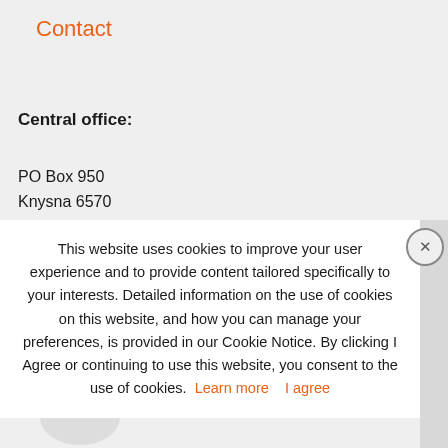Contact
Central office:
PO Box 950
Knysna 6570
Monday - Friday (Office hours)
08:00 - 17:00 (UTC+0200)
This website uses cookies to improve your user experience and to provide content tailored specifically to your interests. Detailed information on the use of cookies on this website, and how you can manage your preferences, is provided in our Cookie Notice. By clicking I Agree or continuing to use this website, you consent to the use of cookies. Learn more   I agree